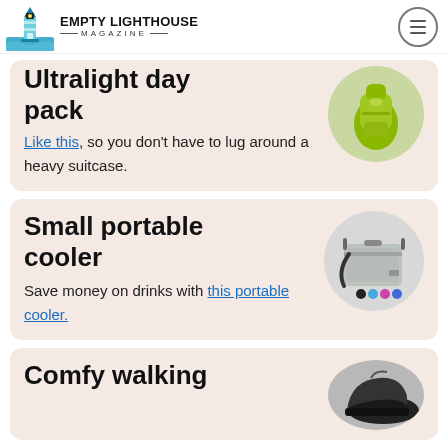EMPTY LIGHTHOUSE MAGAZINE
Ultralight day pack
Like this, so you don't have to lug around a heavy suitcase.
Small portable cooler
Save money on drinks with this portable cooler.
Comfy walking